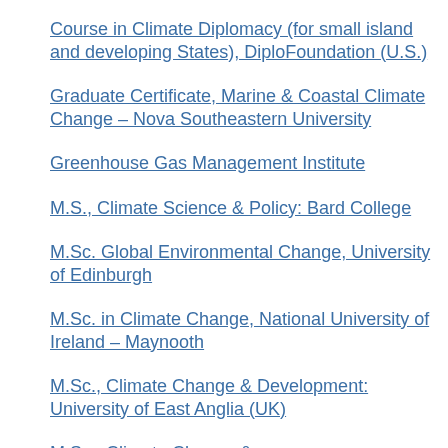Course in Climate Diplomacy (for small island and developing States), DiploFoundation (U.S.)
Graduate Certificate, Marine & Coastal Climate Change – Nova Southeastern University
Greenhouse Gas Management Institute
M.S., Climate Science & Policy: Bard College
M.Sc. Global Environmental Change, University of Edinburgh
M.Sc. in Climate Change, National University of Ireland – Maynooth
M.Sc., Climate Change & Development: University of East Anglia (UK)
M.Sc., Climate Change &